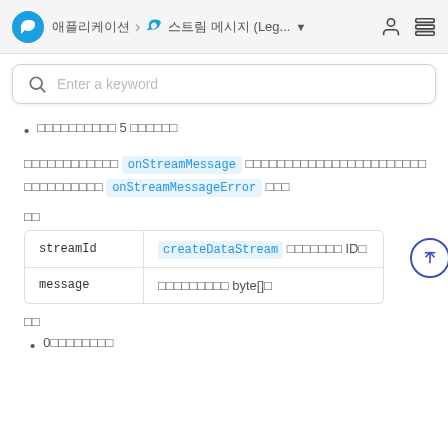애플리케이션 > 스트림 메시지 (Leg... ▾
콜백이 호출되는 5 최대 크기를
콜백이 호출된다면 onStreamMessage 원격에서 보낸 스트림 메시지를 수신합니다. onStreamMessageError 콜백
매개변수
| streamId | message |
| --- | --- |
| streamId | createDataStream 에서 반환된 ID입니다 |
| message | 수신한 메시지입니다 byte[]입니다 |
반환값
0이면 성공입니다